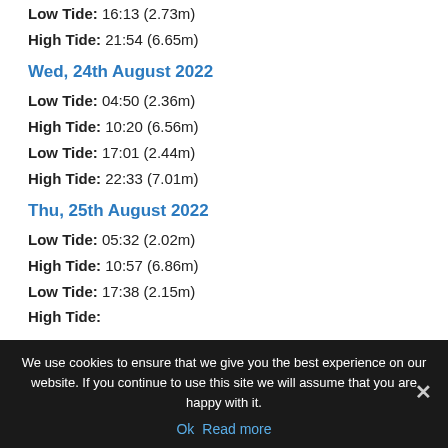Low Tide:  16:13 (2.73m)
High Tide:  21:54 (6.65m)
Wed, 24th August 2022
Low Tide:  04:50 (2.36m)
High Tide:  10:20 (6.56m)
Low Tide:  17:01 (2.44m)
High Tide:  22:33 (7.01m)
Thu, 25th August 2022
Low Tide:  05:32 (2.02m)
High Tide:  10:57 (6.86m)
Low Tide:  17:38 (2.15m)
High Tide:  (partially visible)
We use cookies to ensure that we give you the best experience on our website. If you continue to use this site we will assume that you are happy with it.
Ok   Read more